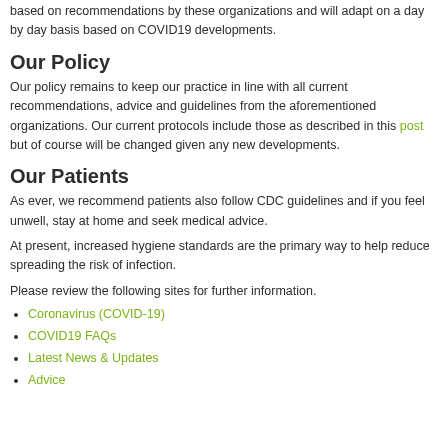based on recommendations by these organizations and will adapt on a day by day basis based on COVID19 developments.
Our Policy
Our policy remains to keep our practice in line with all current recommendations, advice and guidelines from the aforementioned organizations. Our current protocols include those as described in this post but of course will be changed given any new developments.
Our Patients
As ever, we recommend patients also follow CDC guidelines and if you feel unwell, stay at home and seek medical advice.
At present, increased hygiene standards are the primary way to help reduce spreading the risk of infection.
Please review the following sites for further information.
Coronavirus (COVID-19)
COVID19 FAQs
Latest News & Updates
Advice